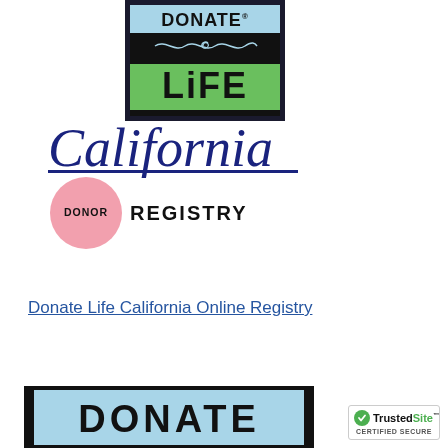[Figure (logo): Donate Life California Donor Registry logo. A square box with 'DONATE' in blue section on top, a swirl divider, 'LIFE' in green section below, followed by 'California' in dark blue italic script with underline, and a pink circle overlapping with 'DONOR' text inside, followed by 'REGISTRY' in bold black text.]
Donate Life California Online Registry
[Figure (logo): Partial bottom view of Donate Life logo showing 'DONATE' text in blue on black background, cropped at bottom of page.]
[Figure (logo): TrustedSite Certified Secure badge with green checkmark circle.]